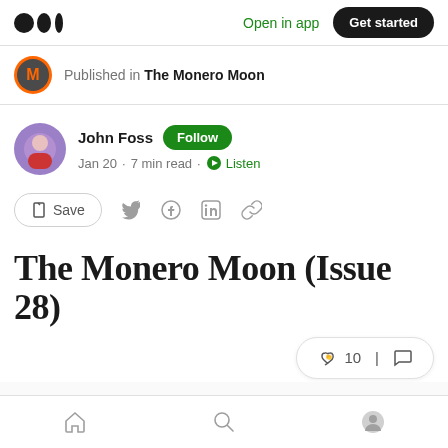Open in app | Get started
Published in The Monero Moon
John Foss · Follow · Jan 20 · 7 min read · Listen
The Monero Moon (Issue 28)
Home | Search | Profile